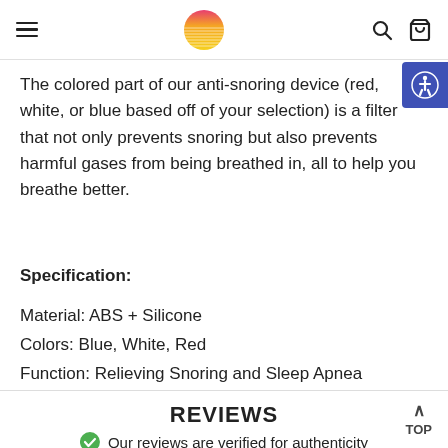[hamburger menu] [logo] [search] [cart]
The colored part of our anti-snoring device (red, white, or blue based off of your selection) is a filter that not only prevents snoring but also prevents harmful gases from being breathed in, all to help you breathe better.
Specification:
Material: ABS + Silicone
Colors: Blue, White, Red
Function: Relieving Snoring and Sleep Apnea
REVIEWS
Our reviews are verified for authenticity